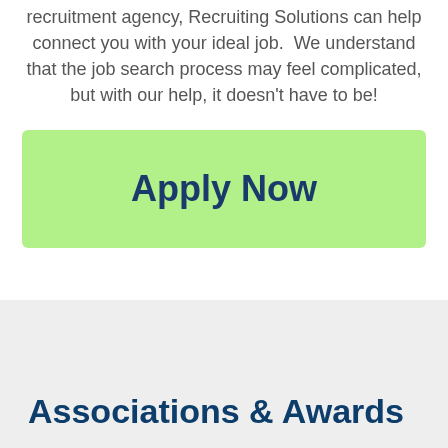recruitment agency, Recruiting Solutions can help connect you with your ideal job.  We understand that the job search process may feel complicated, but with our help, it doesn't have to be!
Apply Now
Associations & Awards